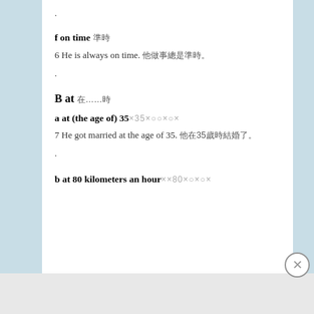.
f on time 準時
6 He is always on time. 他做事總是準時。
.
B at 在……時
a at (the age of) 35 × 35 ×○○×○×
7 He got married at the age of 35. 他在35歲時結婚了。
.
b at 80 kilometers an hour ××80×○×○×
附錄